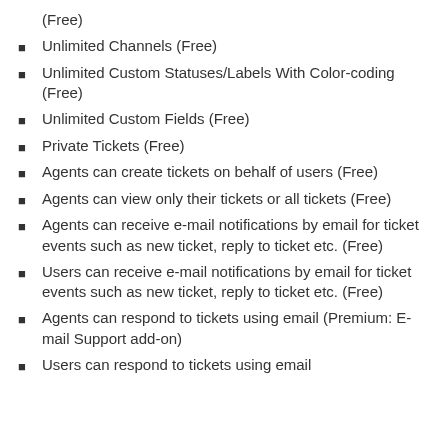(Free)
Unlimited Channels (Free)
Unlimited Custom Statuses/Labels With Color-coding (Free)
Unlimited Custom Fields (Free)
Private Tickets (Free)
Agents can create tickets on behalf of users (Free)
Agents can view only their tickets or all tickets (Free)
Agents can receive e-mail notifications by email for ticket events such as new ticket, reply to ticket etc. (Free)
Users can receive e-mail notifications by email for ticket events such as new ticket, reply to ticket etc. (Free)
Agents can respond to tickets using email (Premium: E-mail Support add-on)
Users can respond to tickets using email